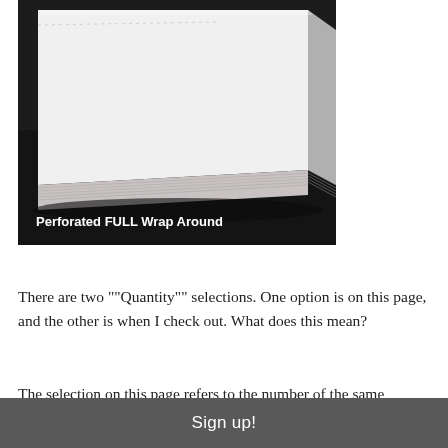[Figure (photo): A side-angle photograph of a thick stack of white paper/notebook with perforated wrap-around cover, sitting on a dark surface. Overlaid text reads 'Perforated FULL Wrap Around' in white bold font.]
There are two ""Quantity"" selections. One option is on this page, and the other is when I check out. What does this mean?
The selection on this page refers to the number of the same
Sign up!